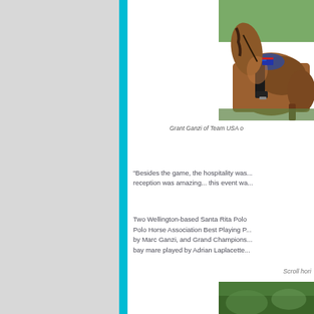[Figure (photo): Close-up photo of a polo player on a chestnut horse, partial view showing horse body and rider's legs with boots and saddle with blue USA pad]
Grant Ganzi of Team USA o
"Besides the game, the hospitality was... reception was amazing... this event wa...
Two Wellington-based Santa Rita Polo Polo Horse Association Best Playing P... by Marc Ganzi, and Grand Champions... bay mare played by Adrian Laplacette...
Scroll hori
[Figure (photo): Partial photo strip at bottom showing green grass/field]